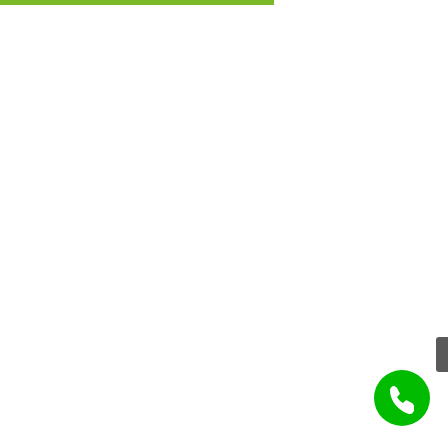Get a Free Quote Now!
[Figure (illustration): Green circular phone call button icon with white phone handset]